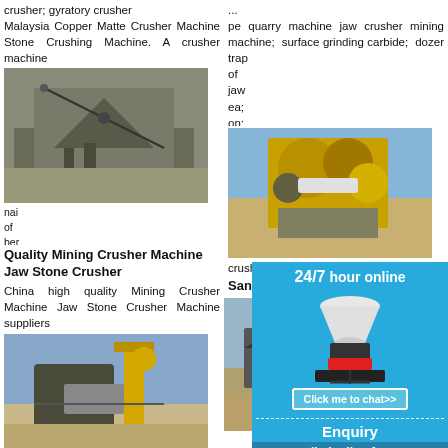crusher; gyratory crusher Malaysia Copper Matte Crusher Machine Stone Crushing Machine. A crusher machine
[Figure (photo): Black and white photo of a large mining crusher machine on a site with rubble]
nai of ber owl act fare; phone: 0086-21-58386256. click amp chat now. Read More
Quality Mining Crusher Machine Jaw Stone Crusher
China high quality Mining Crusher Machine Jaw Stone Crusher Machine suppliers
[Figure (photo): Photo of mining crusher equipment with yellow crane, blue sky in background]
ery an ent in he ou
Mining Cone Crusher-
... pe quarry machine jaw crusher mining machine; surface grinding carbide; dozer trap of jaw ea; on; da ar; crushing
[Figure (photo): Photo of a large yellow industrial crusher machine outdoors]
Sandvik Engine S Crusher
building stone machine; t 2021-10-1 Stone Cr Engine R stone
[Figure (photo): Photo of large mining conveyor and crusher equipment]
Stone Cu
[Figure (infographic): 24/7 hour online chat overlay with white cone crusher image and Click me to chat>> button]
Enquiry
limingjlmofen